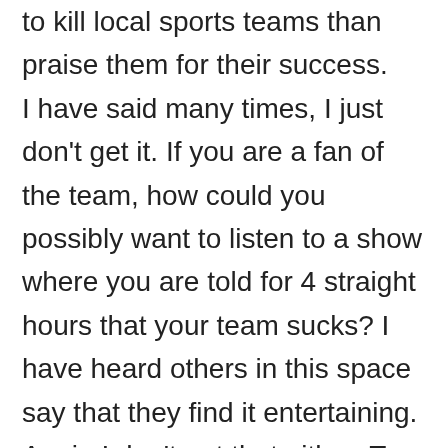to kill local sports teams than praise them for their success. I have said many times, I just don't get it. If you are a fan of the team, how could you possibly want to listen to a show where you are told for 4 straight hours that your team sucks? I have heard others in this space say that they find it entertaining. Again I don't get that either. To me the closest comparison I can make is that Felger is the ultimate wrestling heel. He comes into the ring for four hours a day and tells the crowd that their favorite teams suck. I get it; I used to